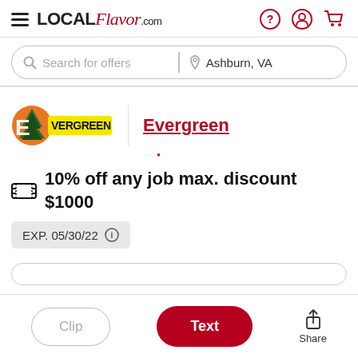LOCAL Flavor.com
Search for offers | Ashburn, VA
[Figure (logo): Evergreen brand logo: orange circle with green pine trees and yellow rectangular banner reading EVERGREEN]
Evergreen
🎟 10% off any job max. discount $1000
EXP. 05/30/22 ⓘ
Clip
Text
Share